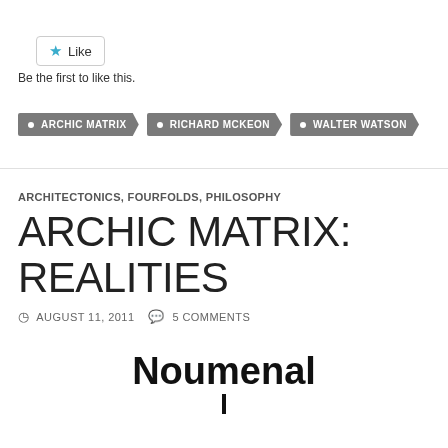[Figure (other): Like button with star icon and label 'Like']
Be the first to like this.
• ARCHIC MATRIX  • RICHARD MCKEON  • WALTER WATSON
ARCHITECTONICS, FOURFOLDS, PHILOSOPHY
ARCHIC MATRIX: REALITIES
AUGUST 11, 2011  5 COMMENTS
Noumenal